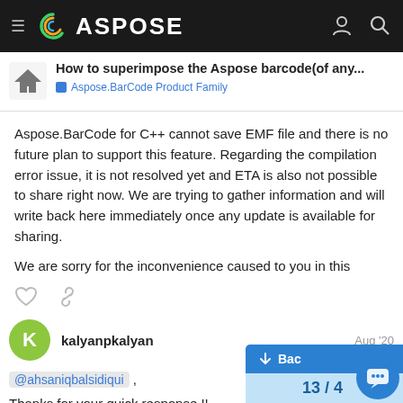ASPOSE
How to superimpose the Aspose barcode(of any... / Aspose.BarCode Product Family
Aspose.BarCode for C++ cannot save EMF file and there is no future plan to support this feature. Regarding the compilation error issue, it is not resolved yet and ETA is also not possible to share right now. We are trying to gather information and will write back here immediately once any update is available for sharing.

We are sorry for the inconvenience caused to you in this regard.
kalyanpkalyan  Aug '20
@ahsaniqbalsidiqui ,
Thanks for your quick response !!
I would really appreciate if you get me an